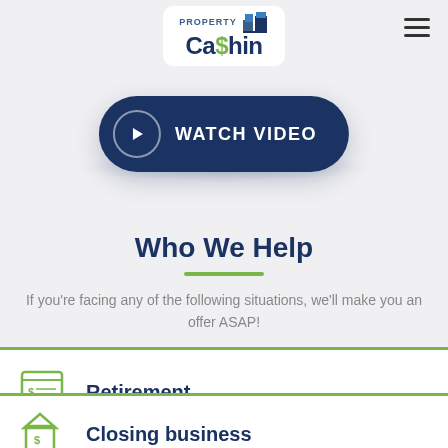[Figure (logo): Property Cashin logo with building icon, green and navy blue text]
[Figure (other): Watch Video button - dark navy pill-shaped button with play circle icon]
Who We Help
If you're facing any of the following situations, we'll make you an offer ASAP!
Retirement
Closing business